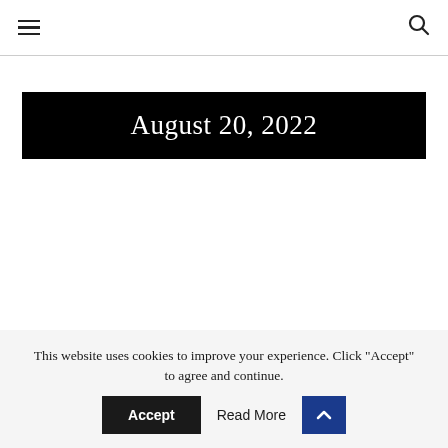≡  🔍
August 20, 2022
This website uses cookies to improve your experience. Click "Accept" to agree and continue.